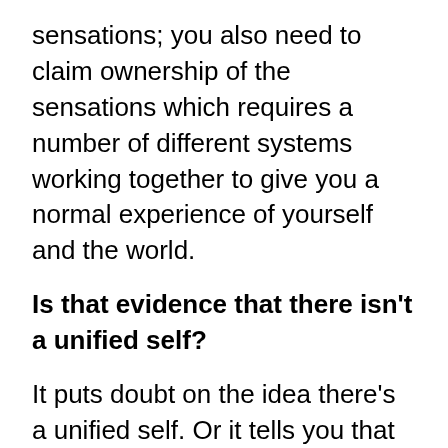sensations; you also need to claim ownership of the sensations which requires a number of different systems working together to give you a normal experience of yourself and the world.
Is that evidence that there isn't a unified self?
It puts doubt on the idea there's a unified self. Or it tells you that the unity we experience and that we take for granted is in fact produced by a very complex collaboration of a number of different neural systems working together like an orchestra